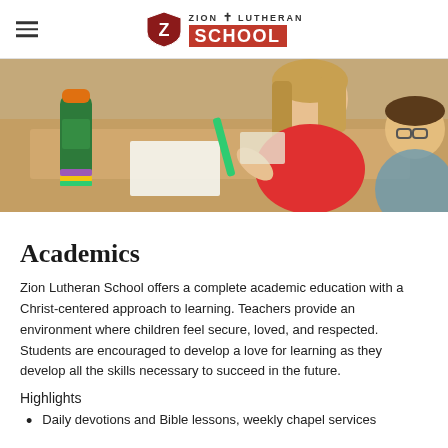Zion Lutheran School
[Figure (photo): Children sitting at wooden desks in a classroom. A girl in a red shirt is writing on paper with a green marker. A water bottle is visible on the desk. Another child with glasses is partially visible on the right.]
Academics
Zion Lutheran School offers a complete academic education with a Christ-centered approach to learning. Teachers provide an environment where children feel secure, loved, and respected. Students are encouraged to develop a love for learning as they develop all the skills necessary to succeed in the future.
Highlights
Daily devotions and Bible lessons, weekly chapel services